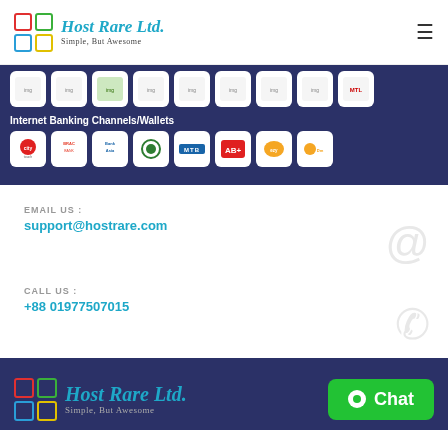[Figure (logo): Host Rare Ltd. logo with colored squares grid and italic teal text, tagline: Simple, But Awesome]
[Figure (illustration): Row of internet banking channel logos including city touch, BRAC Bank, Bank Asia, Agrani Bank, MTB, AB Bank, and others]
Internet Banking Channels/Wallets
[Figure (illustration): Row of internet banking/wallet logos: CityTouch, BRAC Bank, Bank Asia, Agrani Bank (circle), MTB, AB+, Wallets, OKmoney]
EMAIL US :
support@hostrare.com
CALL US :
+88 01977507015
[Figure (logo): Host Rare Ltd. footer logo with colored squares and teal italic text, tagline: Simple, But Awesome]
[Figure (illustration): Green Chat button with white circle dot icon]